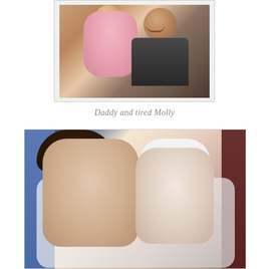[Figure (photo): A man holding a baby dressed in pink. The man is smiling and wearing a dark gray shirt.]
Daddy and tired Molly
[Figure (photo): Two young children lying together. An older toddler with curly dark hair and a smaller baby wearing a white outfit with a pacifier.]